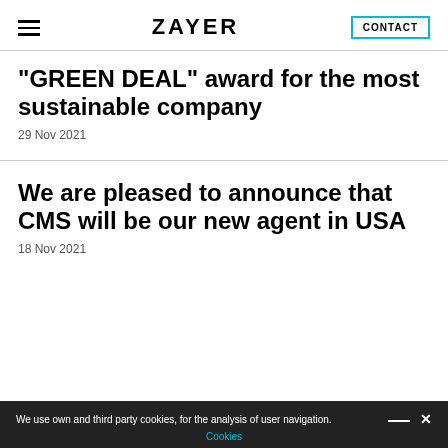ZAYER | CONTACT
“GREEN DEAL” award for the most sustainable company
29 Nov 2021
We are pleased to announce that CMS will be our new agent in USA
18 Nov 2021
We use own and third party cookies, for the analysis of user navigation. Cookies